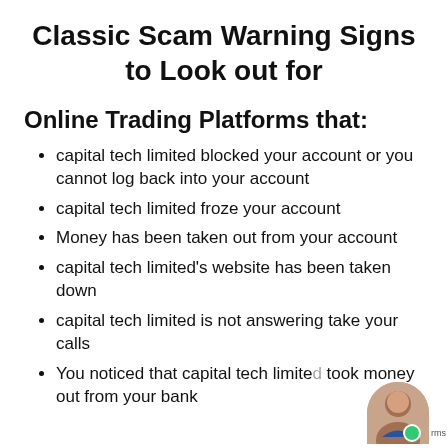Classic Scam Warning Signs to Look out for
Online Trading Platforms that:
capital tech limited blocked your account or you cannot log back into your account
capital tech limited froze your account
Money has been taken out from your account
capital tech limited's website has been taken down
capital tech limited is not answering take your calls
You noticed that capital tech limited took money out from your bank